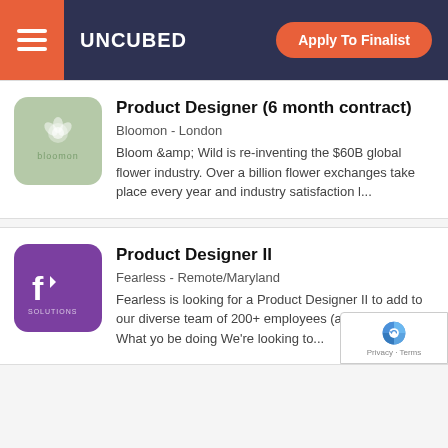UNCUBED | Apply To Finalist
Product Designer (6 month contract)
Bloomon - London
Bloom &amp; Wild is re-inventing the $60B global flower industry. Over a billion flower exchanges take place every year and industry satisfaction l...
Product Designer II
Fearless - Remote/Maryland
Fearless is looking for a Product Designer II to add to our diverse team of 200+ employees (and counting!).   What yo be doing We're looking to...